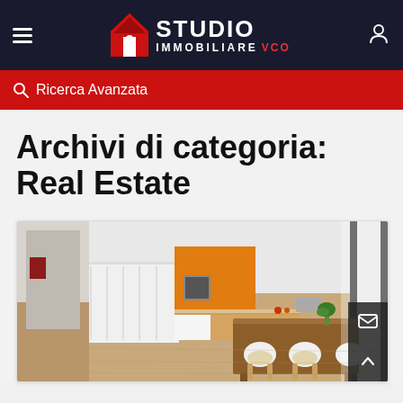Studio Immobiliare VCO - Navigation header with hamburger menu and user icon
Ricerca Avanzata
Archivi di categoria: Real Estate
[Figure (photo): Interior photo of a modern open-plan kitchen and dining area with wood floors, white cabinetry, orange kitchen backsplash, and a wooden dining table with white chairs.]